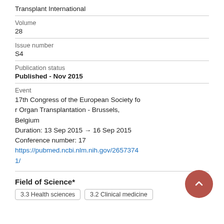Transplant International
Volume
28
Issue number
S4
Publication status
Published - Nov 2015
Event
17th Congress of the European Society for Organ Transplantation - Brussels, Belgium
Duration: 13 Sep 2015 → 16 Sep 2015
Conference number: 17
https://pubmed.ncbi.nlm.nih.gov/265737411/
Field of Science*
3.3 Health sciences    3.2 Clinical medicine